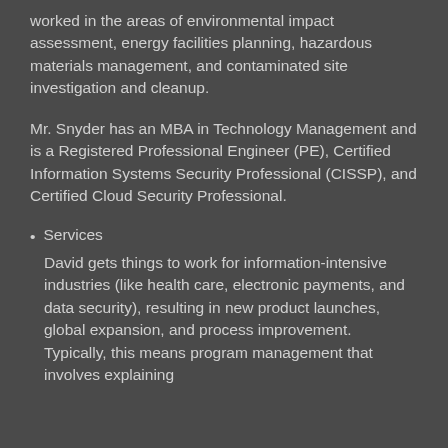worked in the areas of environmental impact assessment, energy facilities planning, hazardous materials management, and contaminated site investigation and cleanup.
Mr. Snyder has an MBA in Technology Management and is a Registered Professional Engineer (PE), Certified Information Systems Security Professional (CISSP), and Certified Cloud Security Professional.
Services
David gets things to work for information-intensive industries (like health care, electronic payments, and data security), resulting in new product launches, global expansion, and process improvement. Typically, this means program management that involves explaining